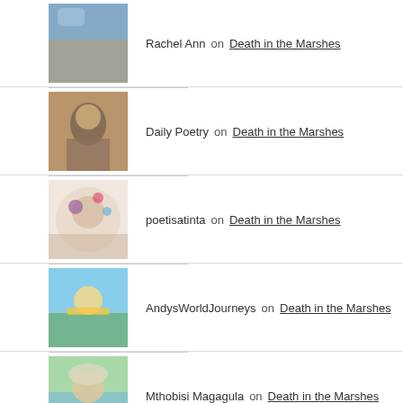Rachel Ann on Death in the Marshes
Daily Poetry on Death in the Marshes
poetisatinta on Death in the Marshes
AndysWorldJourneys on Death in the Marshes
Mthobisi Magagula on Death in the Marshes
RECENT POSTS
Death in the Marshes
In Search of a Smile